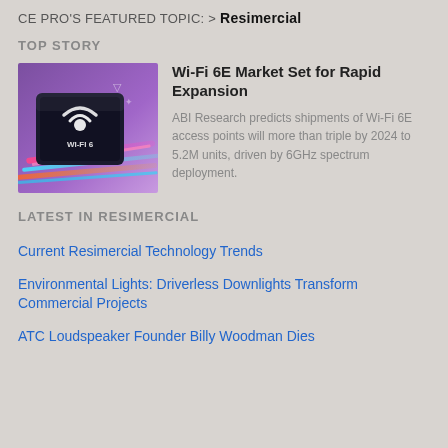CE PRO'S FEATURED TOPIC: > Resimercial
TOP STORY
[Figure (photo): Wi-Fi 6 branded chip/device with colorful neon light streaks on purple background]
Wi-Fi 6E Market Set for Rapid Expansion
ABI Research predicts shipments of Wi-Fi 6E access points will more than triple by 2024 to 5.2M units, driven by 6GHz spectrum deployment.
LATEST IN RESIMERCIAL
Current Resimercial Technology Trends
Environmental Lights: Driverless Downlights Transform Commercial Projects
ATC Loudspeaker Founder Billy Woodman Dies